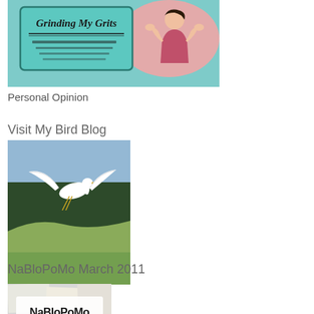[Figure (illustration): Blog header image for 'Grinding My Grits' showing retro-style illustration of a woman with teal/pink coloring and decorative text]
Personal Opinion
Visit My Bird Blog
[Figure (photo): Photo of a white bird (egret or heron) in flight over a grassy hillside with dark trees in the background]
NaBloPoMo March 2011
[Figure (photo): NaBloPoMo badge image showing the text 'NaBloPoMo' on what appears to be a collage of paper/magazine cutouts]